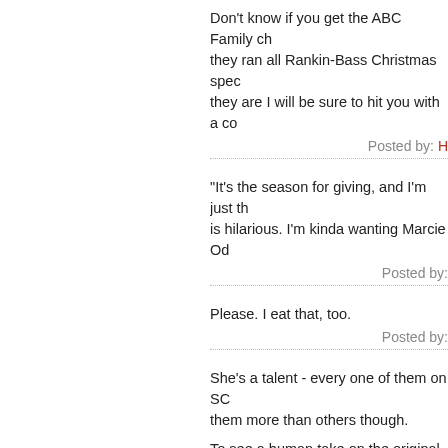Don't know if you get the ABC Family ch... they ran all Rankin-Bass Christmas spec... they are I will be sure to hit you with a co...
Posted by: H...
"It's the season for giving, and I'm just th... is hilarious. I'm kinda wanting Marcie Od...
Posted by:
Please. I eat that, too.
Posted by:
She's a talent - every one of them on SC... them more than others though.
To see a human take on the original Joey... this, by the amazing Jill Sobule:
http://www.youtube.com/watch?v=LrHOf...